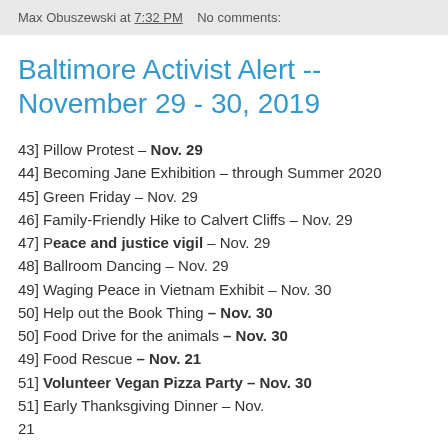Max Obuszewski at 7:32 PM    No comments:
Baltimore Activist Alert -- November 29 - 30, 2019
43] Pillow Protest – Nov. 29
44] Becoming Jane Exhibition – through Summer 2020
45] Green Friday – Nov. 29
46] Family-Friendly Hike to Calvert Cliffs – Nov. 29
47] Peace and justice vigil – Nov. 29
48] Ballroom Dancing – Nov. 29
49] Waging Peace in Vietnam Exhibit – Nov. 30
50] Help out the Book Thing – Nov. 30
50] Food Drive for the animals – Nov. 30
49] Food Rescue – Nov. 21
51] Volunteer Vegan Pizza Party – Nov. 30
51] Early Thanksgiving Dinner – Nov. 21